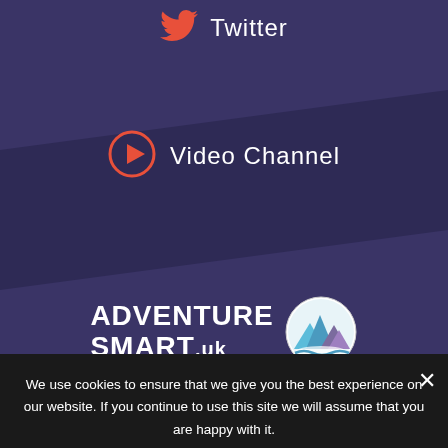[Figure (logo): Twitter bird icon in red/orange color]
Twitter
[Figure (logo): Video play button circle icon in red/orange]
Video Channel
[Figure (logo): AdventureSmart UK logo — text ADVENTURE SMART.uk with circular mountain/landscape emblem]
Mountain Rescue England and Wales is a Charitable Incorporated Organisation. Registered In England and Wales No: 1178090 Registered Office: c/o Azets Holdings Ltd, Ty Drew, Lime Tree Court, Mulberry Drive, Cardiff Gate Business Park, Pontprennau, Cardiff CF23 8AB.
We use cookies to ensure that we give you the best experience on our website. If you continue to use this site we will assume that you are happy with it.
Ok
No
Privacy policy